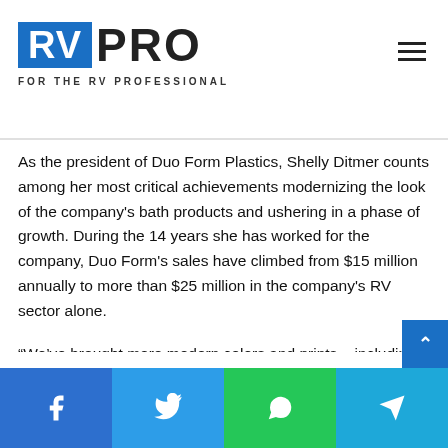RV PRO - FOR THE RV PROFESSIONAL
As the president of Duo Form Plastics, Shelly Ditmer counts among her most critical achievements modernizing the look of the company's bath products and ushering in a phase of growth. During the 14 years she has worked for the company, Duo Form's sales have climbed from $15 million annually to more than $25 million in the company's RV sector alone.
“We’ve brought more modern colors and prints – including a print that looks like marble – as options for the standard white plastic shower,” says Ditmer, who began her career with Duo Form as office manager in 2006.
Social share buttons: Facebook, Twitter, WhatsApp, Telegram